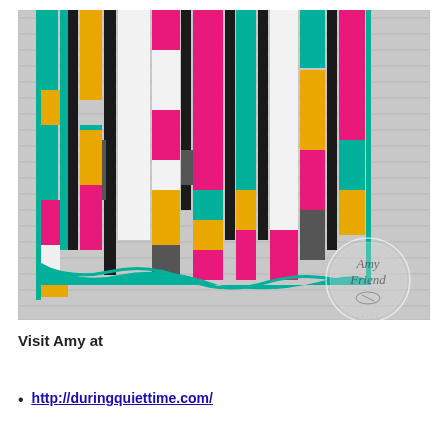[Figure (photo): A colorful patchwork quilt with vertical rectangular strips in teal, hot pink, mustard yellow, black, white, and gray geometric patterns, hanging against a white wooden siding wall. An 'Amy Friend' watermark circle logo appears in the lower right corner of the image.]
Visit Amy at
http://duringquiettime.com/